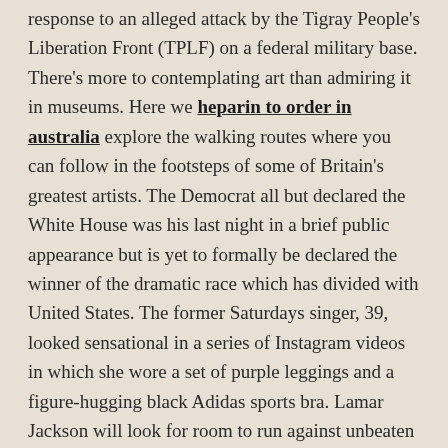response to an alleged attack by the Tigray People's Liberation Front (TPLF) on a federal military base. There's more to contemplating art than admiring it in museums. Here we heparin to order in australia explore the walking routes where you can follow in the footsteps of some of Britain's greatest artists. The Democrat all but declared the White House was his last night in a brief public appearance but is yet to formally be declared the winner of the dramatic race which has divided with United States. The former Saturdays singer, 39, looked sensational in a series of Instagram videos in which she wore a set of purple leggings and a figure-hugging black Adidas sports bra. Lamar Jackson will look for room to run against unbeaten Pittsburgh, San Francisco will try to hand Seattle a losing streak and Tua Time begins in Miami. Vaughan William's would have enjoyed this production by English National Opera (London Coliseum) and felt vindicated about its original poor reception in 1951. She found purchase celebrex usa visa